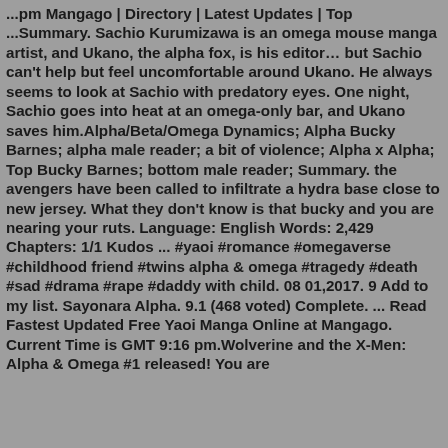...pm Mangago | Directory | Latest Updates | Top ...Summary. Sachio Kurumizawa is an omega mouse manga artist, and Ukano, the alpha fox, is his editor… but Sachio can't help but feel uncomfortable around Ukano. He always seems to look at Sachio with predatory eyes. One night, Sachio goes into heat at an omega-only bar, and Ukano saves him.Alpha/Beta/Omega Dynamics; Alpha Bucky Barnes; alpha male reader; a bit of violence; Alpha x Alpha; Top Bucky Barnes; bottom male reader; Summary. the avengers have been called to infiltrate a hydra base close to new jersey. What they don't know is that bucky and you are nearing your ruts. Language: English Words: 2,429 Chapters: 1/1 Kudos ... #yaoi #romance #omegaverse #childhood friend #twins alpha & omega #tragedy #death #sad #drama #rape #daddy with child. 08 01,2017. 9 Add to my list. Sayonara Alpha. 9.1 (468 voted) Complete. ... Read Fastest Updated Free Yaoi Manga Online at Mangago. Current Time is GMT 9:16 pm.Wolverine and the X-Men: Alpha & Omega #1 released! You are